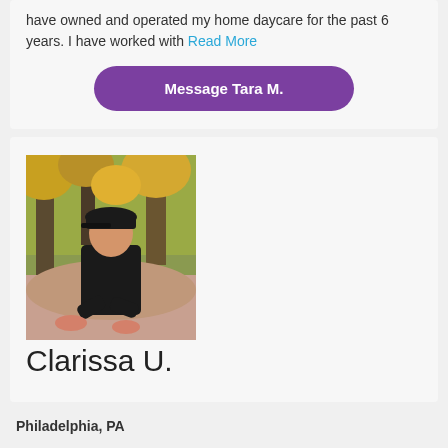have owned and operated my home daycare for the past 6 years. I have worked with Read More
Message Tara M.
[Figure (photo): Profile photo of a person sitting on rock in an outdoor wooded area with autumn foliage, wearing a black jacket and black cap]
Clarissa U.
Philadelphia, PA